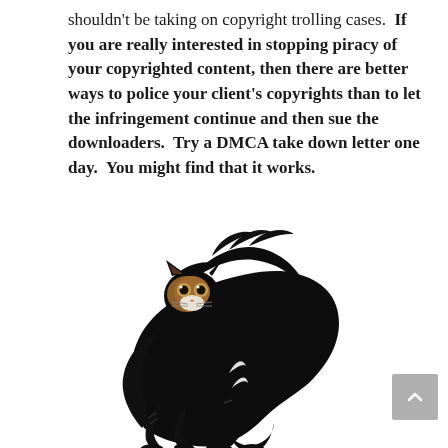shouldn't be taking on copyright trolling cases. If you are really interested in stopping piracy of your copyrighted content, then there are better ways to police your client's copyrights than to let the infringement continue and then sue the downloaders. Try a DMCA take down letter one day. You might find that it works.
[Figure (illustration): A stylized black cat with an arched back in a scared/defensive pose, with a realistic face showing brown and white fur with wide eyes. The cat is mostly solid black silhouette with a detailed face.]